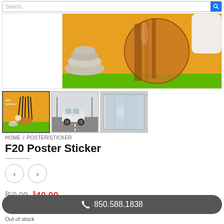Search...
[Figure (photo): Main product image: spa stones and a glass oil diffuser ball on an orange/yellow background with green strip at bottom]
[Figure (photo): Thumbnail 1: spa collection poster with reed diffuser sticks]
[Figure (photo): Thumbnail 2: car on a road/highway]
[Figure (photo): Thumbnail 3: glass storefront with window display]
HOME / POSTER/STICKER
F20 Poster Sticker
< >
$50.00  $40.00
850.588.1838
Out of stock